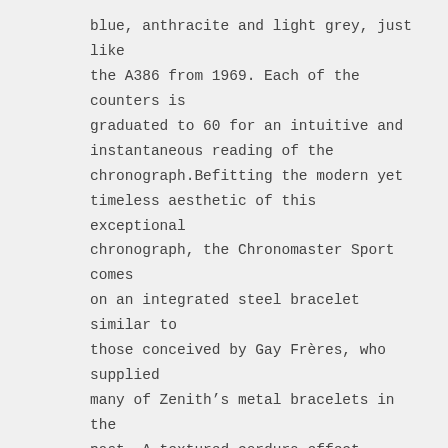blue, anthracite and light grey, just like the A386 from 1969. Each of the counters is graduated to 60 for an intuitive and instantaneous reading of the chronograph.Befitting the modern yet timeless aesthetic of this exceptional chronograph, the Chronomaster Sport comes on an integrated steel bracelet similar to those conceived by Gay Frères, who supplied many of Zenith's metal bracelets in the past. A textured cordura-effect rubber strap option with a steel deployant buckle is also available.
The Chronomaster Sport line is equipped with a new version of the Manufacture's most renowned movement, dubbed the El Primero 3600 calibre. With the experience gained after over five decades of the El Primero and high-frequency chronographs in general, Zenith is able to precisely offer